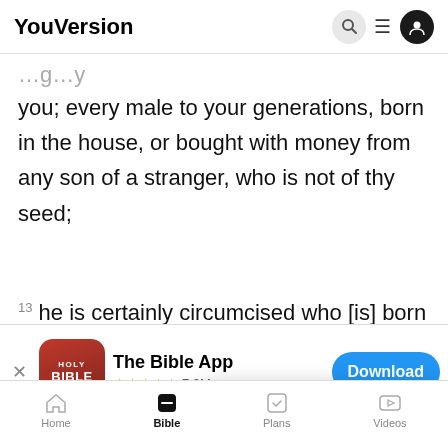YouVersion
…g…y you; every male to your generations, born in the house, or bought with money from any son of a stranger, who is not of thy seed;
13 he is certainly circumcised who [is] born in
[Figure (screenshot): App download banner for The Bible App with 5-star rating 7.9M and a Download button]
age-du
14 an
YouVersion uses cookies to personalize your experience. By using our website, you accept our use of cookies as described in our Privacy Policy.
Home  Bible  Plans  Videos